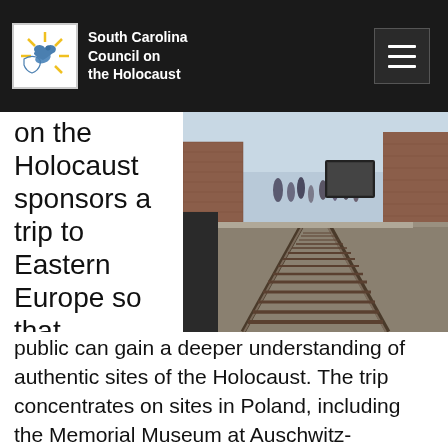South Carolina Council on the Holocaust
on the Holocaust sponsors a trip to Eastern Europe so that educators and the general public can gain a deeper understanding of authentic sites of the Holocaust. The trip concentrates on sites in Poland, including the Memorial Museum at Auschwitz-Birkenau and the neighboring town from which the concentration camp got its name
[Figure (photo): Railroad tracks leading into Auschwitz-Birkenau concentration camp memorial site, with visitors walking along the platform and brick buildings in the background.]